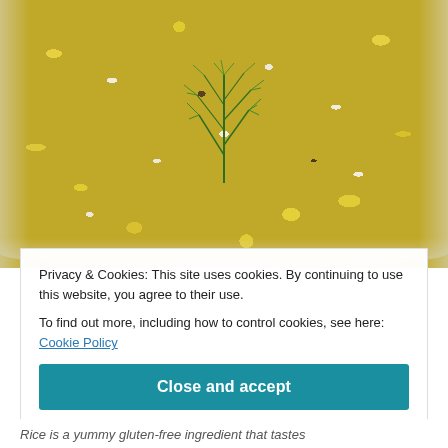[Figure (photo): Close-up photo of a bowl of fried rice with scrambled eggs, vegetables, and a fresh dill garnish in the center]
Privacy & Cookies: This site uses cookies. By continuing to use this website, you agree to their use.
To find out more, including how to control cookies, see here: Cookie Policy
Close and accept
Rice is a yummy gluten-free ingredient that tastes